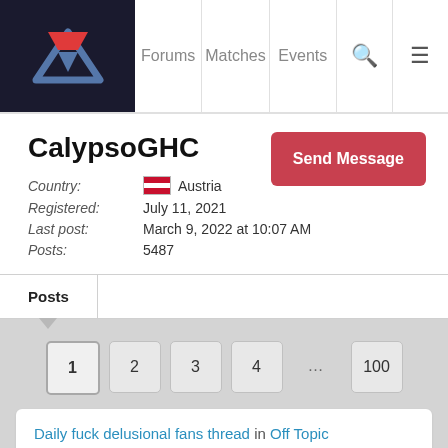Forums | Matches | Events
CalypsoGHC
Country: Austria
Registered: July 11, 2021
Last post: March 9, 2022 at 10:07 AM
Posts: 5487
Send Message
Posts
1 2 3 4 … 100
Daily fuck delusional fans thread in Off Topic
agreed, fuck em
posted 5 months ago